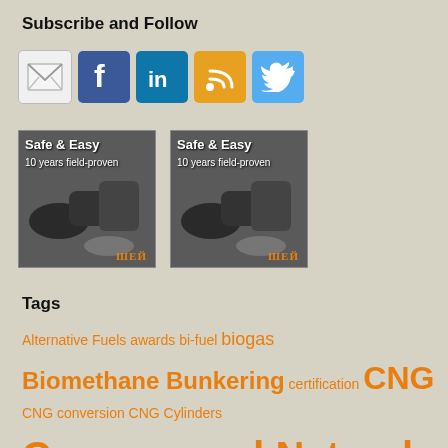Subscribe and Follow
[Figure (infographic): Social media icons: email, Facebook, LinkedIn, RSS, Twitter]
[Figure (infographic): Two advertisement images for WEH Safe & Easy 10 years field-proven CNG fueling nozzle]
Tags
Alternative Fuels awards bi-fuel biogas Biomethane Bunkering certification CNG CNG conversion CNG Cylinders Compressed Natural Gas conference dual-fuel emissions Engine Fleets Ford